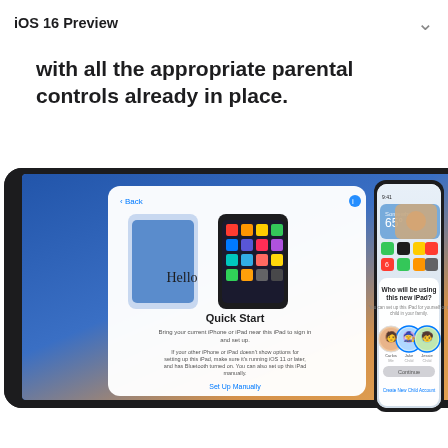iOS 16 Preview
Use Quick Start and your device to easily set up a new iPhone or iPad for your child with all the appropriate parental controls already in place.
[Figure (screenshot): An iPad displaying a Quick Start setup screen and an iPhone showing a 'Who will be using this new iPad?' family setup screen with user avatars for Carlos, Jake, and Jessie.]